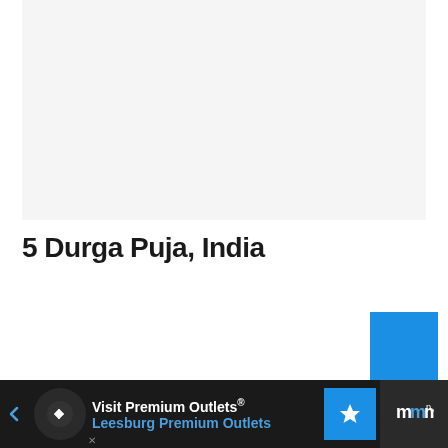[Figure (photo): Light gray placeholder image area at the top of the page]
5 Durga Puja, India
[Figure (other): Blue square button/icon in lower right area]
Visit Premium Outlets® Leesburg Premium Outlets — advertisement banner at bottom